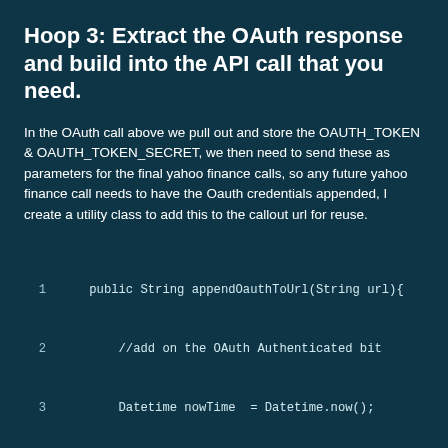Hoop 3: Extract the OAuth response and build into the API call that you need.
In the OAuth call above we pull out and store the OAUTH_TOKEN & OAUTH_TOKEN_SECRET, we then need to send these as parameters for the final yahoo finance calls, so any future yahoo finance call needs to have the Oauth credentials appended, I create a utility class to add this to the callout url for reuse.
1    public String appendOauthToUrl(String url){
2        //add on the OAuth Authenticated bit
3        Datetime nowTime  = Datetime.now();
4        String oauthTimestamp = String.valueOf( (nowTime.getTi
5  1000) );    //to produce a unix time stamp like: '1406105798'
6        String oauthNonce       = oauthTimestamp +
7  String.valueOf(LTAYS_YahooOauth.getRandomInt(1,9999));//
8  used once" — a unique number that we dont reuse
9        url = url